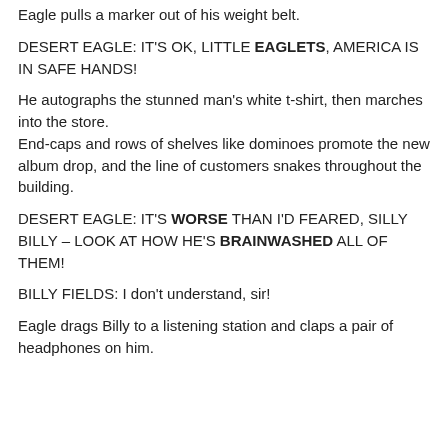Eagle pulls a marker out of his weight belt.
DESERT EAGLE: IT'S OK, LITTLE EAGLETS, AMERICA IS IN SAFE HANDS!
He autographs the stunned man's white t-shirt, then marches into the store.
End-caps and rows of shelves like dominoes promote the new album drop, and the line of customers snakes throughout the building.
DESERT EAGLE: IT'S WORSE THAN I'D FEARED, SILLY BILLY – LOOK AT HOW HE'S BRAINWASHED ALL OF THEM!
BILLY FIELDS: I don't understand, sir!
Eagle drags Billy to a listening station and claps a pair of headphones on him.